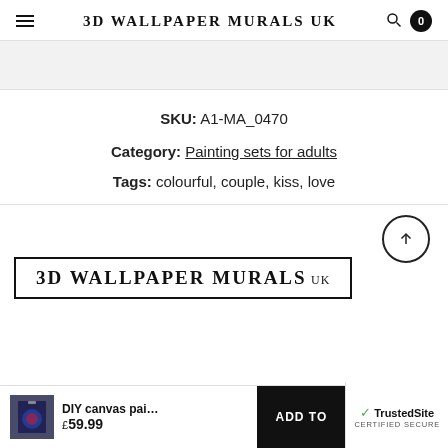3D WALLPAPER MURALS UK
SKU: A1-MA_0470
Category: Painting sets for adults
Tags: colourful, couple, kiss, love
[Figure (logo): 3D WALLPAPER MURALS UK logo in a rectangular border]
DIY canvas pai...
£59.99
ADD TO
[Figure (logo): TrustedSite Certified Secure badge]